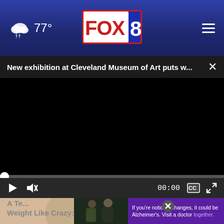FOX 8 — 77° weather header with navigation
New exhibition at Cleveland Museum of Art puts w...
[Figure (screenshot): Black video player area showing a paused video with progress bar at start, play button, mute button, timestamp 00:00, captions and fullscreen controls]
[Figure (photo): Advertisement overlay showing two men with text: If you're noticing changes, it could be Alzheimer's. Visit a doctor together.]
A Te... Weight Like Crazy: